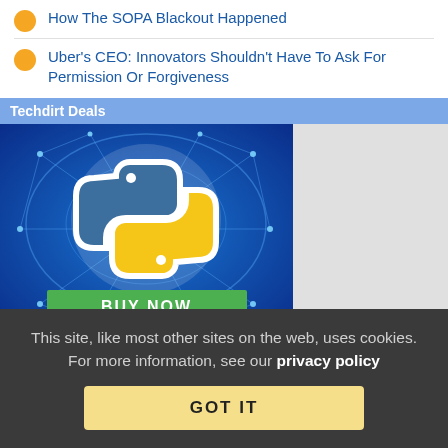How The SOPA Blackout Happened
Uber's CEO: Innovators Shouldn't Have To Ask For Permission Or Forgiveness
Techdirt Deals
[Figure (illustration): Python programming language logo (blue and yellow snake icon) on a blue network/globe background, with a green BUY NOW button at the bottom.]
This site, like most other sites on the web, uses cookies. For more information, see our privacy policy
GOT IT